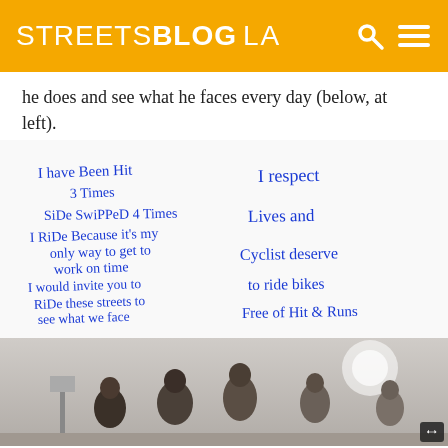STREETSBLOG LA
he does and see what he faces every day (below, at left).
[Figure (photo): Handwritten note on whiteboard in blue ink. Left side reads: 'I have Been Hit 3 Times / SiDe SwiPPeD 4 Times / I RiDe Because it's my only way to get to work on time / I would invite you to RiDe these streets to see what we face every Day!' Right side reads: 'I respect Lives and Cyclist deserve to ride bikes Free of Hit & Runs']
[Figure (photo): Outdoor scene with people gathered, including a woman speaking at what appears to be a public event or rally. Bright sunny day.]